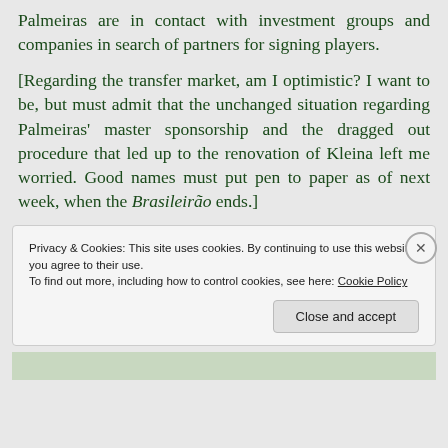Palmeiras are in contact with investment groups and companies in search of partners for signing players.
[Regarding the transfer market, am I optimistic? I want to be, but must admit that the unchanged situation regarding Palmeiras’ master sponsorship and the dragged out procedure that led up to the renovation of Kleina left me worried. Good names must put pen to paper as of next week, when the Brasileiro ends.]
Privacy & Cookies: This site uses cookies. By continuing to use this website, you agree to their use.
To find out more, including how to control cookies, see here: Cookie Policy
Close and accept